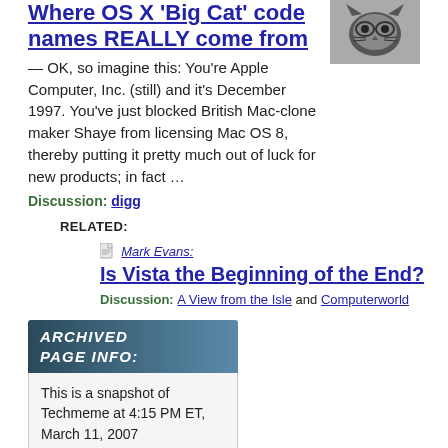Where OS X 'Big Cat' code names REALLY come from
[Figure (photo): Black and white photo of a cat with glasses superimposed]
— OK, so imagine this: You're Apple Computer, Inc. (still) and it's December 1997. You've just blocked British Mac-clone maker Shaye from licensing Mac OS 8, thereby putting it pretty much out of luck for new products; in fact …
Discussion:  digg
RELATED:
Mark Evans: Is Vista the Beginning of the End?
Discussion:  A View from the Isle and Computerworld
[Figure (infographic): Archived page info banner with teal/dark blue gradient header reading ARCHIVED PAGE INFO:]
This is a snapshot of Techmeme at 4:15 PM ET, March 11, 2007